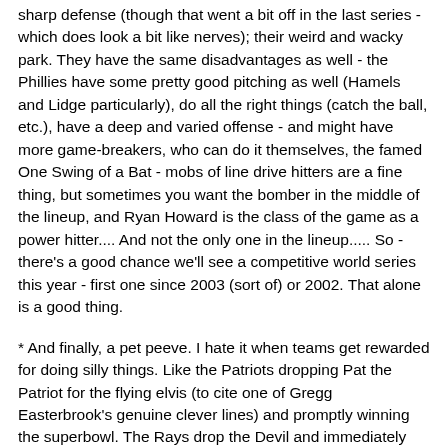sharp defense (though that went a bit off in the last series - which does look a bit like nerves); their weird and wacky park. They have the same disadvantages as well - the Phillies have some pretty good pitching as well (Hamels and Lidge particularly), do all the right things (catch the ball, etc.), have a deep and varied offense - and might have more game-breakers, who can do it themselves, the famed One Swing of a Bat - mobs of line drive hitters are a fine thing, but sometimes you want the bomber in the middle of the lineup, and Ryan Howard is the class of the game as a power hitter.... And not the only one in the lineup..... So - there's a good chance we'll see a competitive world series this year - first one since 2003 (sort of) or 2002. That alone is a good thing.
* And finally, a pet peeve. I hate it when teams get rewarded for doing silly things. Like the Patriots dropping Pat the Patriot for the flying elvis (to cite one of Gregg Easterbrook's genuine clever lines) and promptly winning the superbowl. The Rays drop the Devil and immediately turn into world beaters - what the heck? Devil Rays was much cooler. Hrumph!